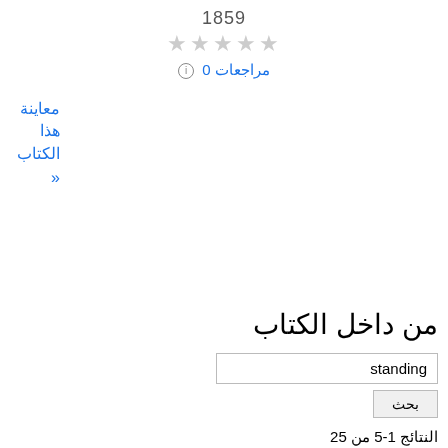1859
★★★★★
ⓘ 0 مراجعات
معاينة هذا الكتاب »
من داخل الكتاب
standing
بحث
النتائج 1-5 من 25
الصفحة 7
A A mere boy of sixteen , in the midst of his companions , it might have been feared that he would hesitate when thus suddenly summoned to